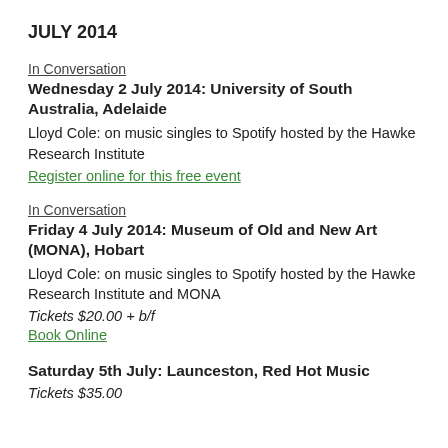JULY 2014
In Conversation
Wednesday 2 July 2014: University of South Australia, Adelaide
Lloyd Cole: on music singles to Spotify hosted by the Hawke Research Institute
Register online for this free event
In Conversation
Friday 4 July 2014: Museum of Old and New Art (MONA), Hobart
Lloyd Cole: on music singles to Spotify hosted by the Hawke Research Institute and MONA
Tickets $20.00 + b/f
Book Online
Saturday 5th July: Launceston, Red Hot Music
Tickets $35.00